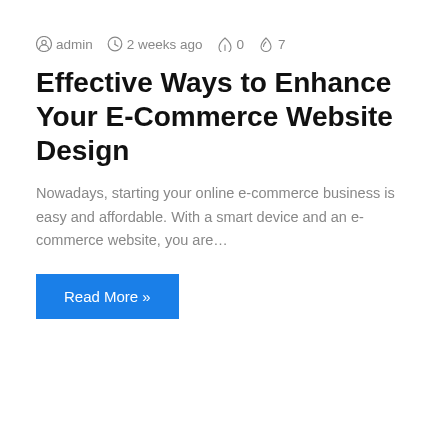admin  2 weeks ago  0  7
Effective Ways to Enhance Your E-Commerce Website Design
Nowadays, starting your online e-commerce business is easy and affordable. With a smart device and an e-commerce website, you are…
Read More »